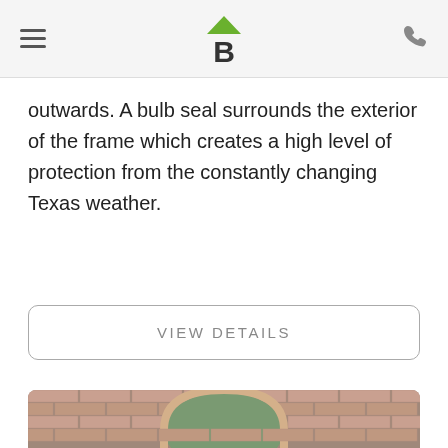[hamburger menu] [B logo] [phone icon]
outwards. A bulb seal surrounds the exterior of the frame which creates a high level of protection from the constantly changing Texas weather.
VIEW DETAILS
[Figure (photo): Exterior brick wall of a building with arched windows featuring white frames, a central arched transom window, and green curtains visible inside.]